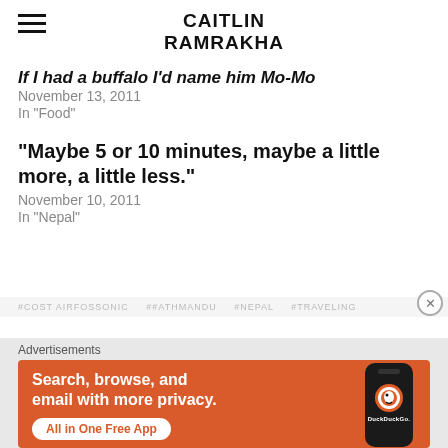CAITLIN RAMRAKHA
If I had a buffalo I'd name him Mo-Mo
November 13, 2011
In "Food"
“Maybe 5 or 10 minutes, maybe a little more, a little less.”
November 10, 2011
In "Nepal"
#COST AIRFOSSONIC  ##ATHMANDU  #NEPAL  #TRAVELING
Advertisements
[Figure (screenshot): DuckDuckGo advertisement banner: orange background with text 'Search, browse, and email with more privacy. All in One Free App' alongside a smartphone image showing the DuckDuckGo app logo and name.]